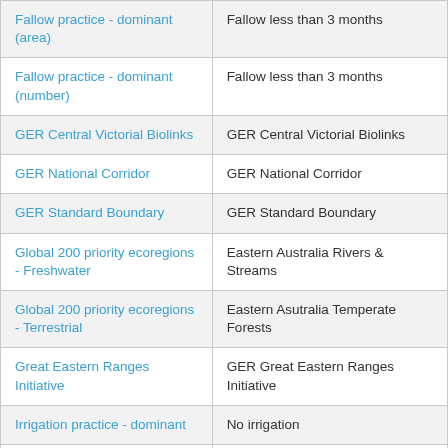| Fallow practice - dominant (area) | Fallow less than 3 months |
| Fallow practice - dominant (number) | Fallow less than 3 months |
| GER Central Victorial Biolinks | GER Central Victorial Biolinks |
| GER National Corridor | GER National Corridor |
| GER Standard Boundary | GER Standard Boundary |
| Global 200 priority ecoregions - Freshwater | Eastern Australia Rivers & Streams |
| Global 200 priority ecoregions - Terrestrial | Eastern Asutralia Temperate Forests |
| Great Eastern Ranges Initiative | GER Great Eastern Ranges Initiative |
| Irrigation practice - dominant | No irrigation |
| Land use | Other minimal uses |
| Murray Darling Basin Authority Water Quality | Upland |